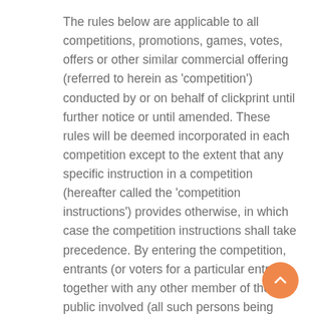The rules below are applicable to all competitions, promotions, games, votes, offers or other similar commercial offering (referred to herein as 'competition') conducted by or on behalf of clickprint until further notice or until amended. These rules will be deemed incorporated in each competition except to the extent that any specific instruction in a competition (hereafter called the 'competition instructions') provides otherwise, in which case the competition instructions shall take precedence. By entering the competition, entrants (or voters for a particular entrant) together with any other member of the public involved (all such persons being referred to